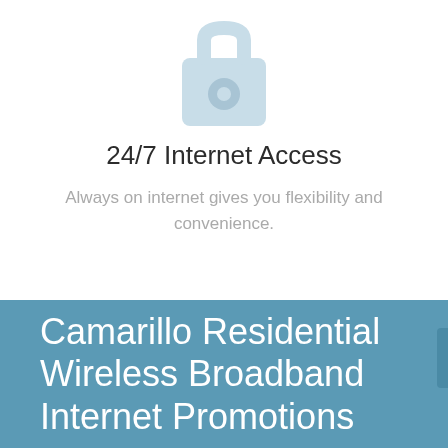[Figure (illustration): Light blue camera or router icon on white background]
24/7 Internet Access
Always on internet gives you flexibility and convenience.
Camarillo Residential Wireless Broadband Internet Promotions